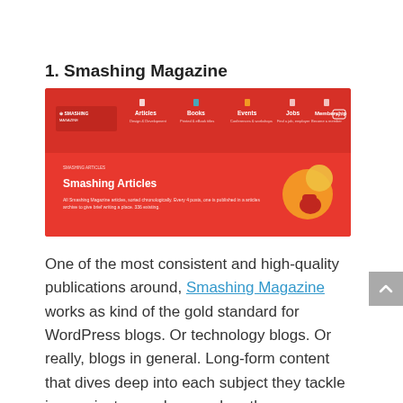1. Smashing Magazine
[Figure (screenshot): Screenshot of Smashing Magazine website showing the header navigation with Articles, Books, Events, Jobs, Membership links on a red background, and a 'Smashing Articles' section below.]
One of the most consistent and high-quality publications around, Smashing Magazine works as kind of the gold standard for WordPress blogs. Or technology blogs. Or really, blogs in general. Long-form content that dives deep into each subject they tackle is a mainstay, and even when the